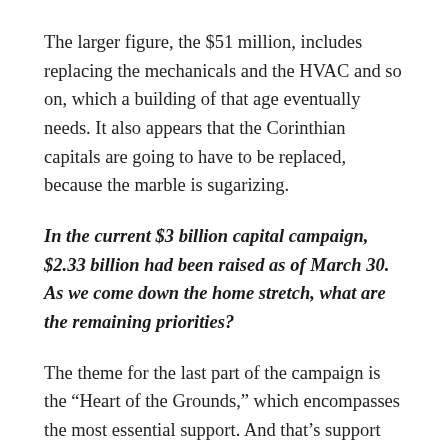The larger figure, the $51 million, includes replacing the mechanicals and the HVAC and so on, which a building of that age eventually needs. It also appears that the Corinthian capitals are going to have to be replaced, because the marble is sugarizing.
In the current $3 billion capital campaign, $2.33 billion had been raised as of March 30. As we come down the home stretch, what are the remaining priorities?
The theme for the last part of the campaign is the “Heart of the Grounds,” which encompasses the most essential support. And that’s support for faculty. That’s support for students and the student experience, and support for those important university activities in the arts and research and technology and so on that make it a distinctively great university. It’s also about the physical heart of the